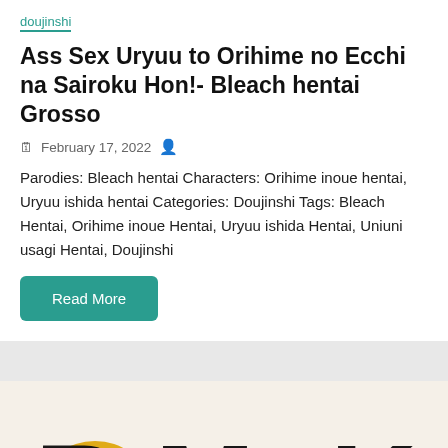doujinshi
Ass Sex Uryuu to Orihime no Ecchi na Sairoku Hon!- Bleach hentai Grosso
February 17, 2022
Parodies: Bleach hentai Characters: Orihime inoue hentai, Uryuu ishida hentai Categories: Doujinshi Tags: Bleach Hentai, Orihime inoue Hentai, Uryuu ishida Hentai, Uniuni usagi Hentai, Doujinshi
Read More
[Figure (illustration): Manga-style illustration showing two anime characters with large bold letters R, M, K overlaid on the image, one character with blonde hair and another with dark reddish-brown hair visible behind the letters.]